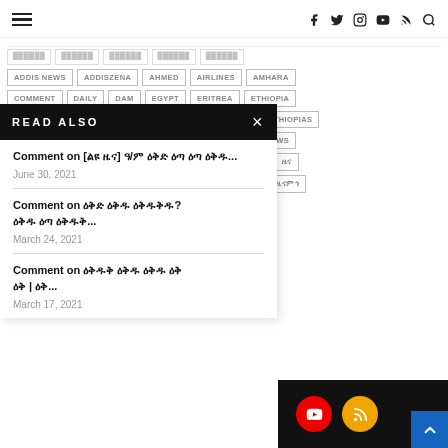hamburger menu | social icons: facebook, twitter, instagram, youtube, rss, search
ADDIS NEWS | ADDISZENA | AHMED | AIRLINES | AMHARA
COMMENT | DAILY | DAM | EGYPT | ERITREA | ETHIOPIA
ETHIOPIAN | ETHIOPIAN AIRLINES | ETHIOPIAN NEWS | ETHIOPIAS
ETHNIC CONFLICT | HABESHA | MEDIA | MINISTER | NEWS
[tags] ...Y | TPLF | VIDEOS | [Amharic tag]
[Amharic tags row]
READ ALSO
Comment on [ልዩ ዜና] ዓ/ም ዕቅድ ዕጣ ዕጣ...
June 30, 2021
Comment on ዕቅድ ዕቅድ ዕቅዱቅዱ?
ዕቅድ ዕጣ ዕቅዱቅ...
March 24, 2021
Comment on ዕቅዱቅ ዕቅድ ዕቅድ ዕቅ | ዕቅ...
March 17, 2021